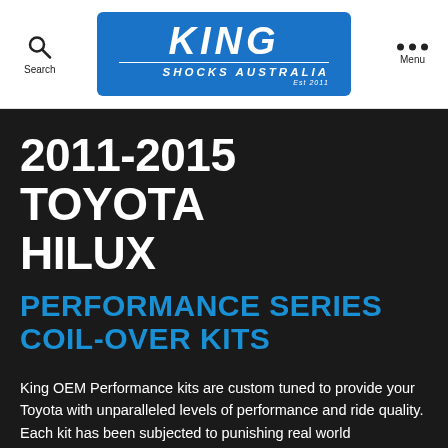King Shocks Australia
2011-2015 TOYOTA HILUX
PERFORMANCE SERIES COIL-OVER KITS
King OEM Performance kits are custom tuned to provide your Toyota with unparalleled levels of performance and ride quality. Each kit has been subjected to punishing real world